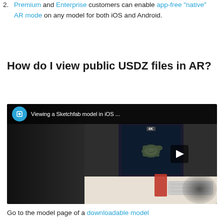2. Premium and Enterprise customers can enable app-free "native" AR mode on any model for both iOS and Android.
How do I view public USDZ files in AR?
[Figure (screenshot): YouTube-style video thumbnail showing a Sketchfab model being viewed in iOS AR. The video title reads 'Viewing a Sketchfab model in iOS …' with a Sketchfab cube logo icon on the left and a three-dot menu on the right. The main image shows a computer monitor displaying a turtle 3D model on a desk with a keyboard, red notebook, and blurred background.]
Go to the model page of a downloadable model